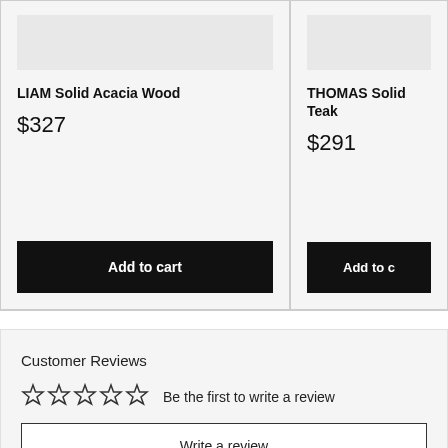LIAM Solid Acacia Wood
$327
Add to cart
THOMAS Solid Teak
$291
Add to c
Customer Reviews
Be the first to write a review
Write a review